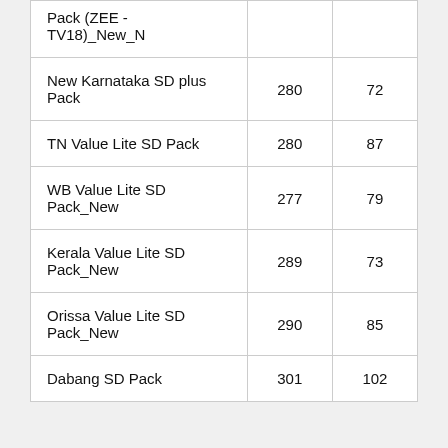| Pack (ZEE - TV18)_New_N |  |  |
| New Karnataka SD plus Pack | 280 | 72 |
| TN Value Lite SD Pack | 280 | 87 |
| WB Value Lite SD Pack_New | 277 | 79 |
| Kerala Value Lite SD Pack_New | 289 | 73 |
| Orissa Value Lite SD Pack_New | 290 | 85 |
| Dabang SD Pack | 301 | 102 |